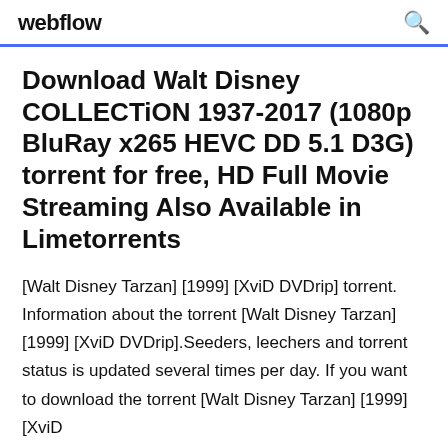webflow
Download Walt Disney COLLECTiON 1937-2017 (1080p BluRay x265 HEVC DD 5.1 D3G) torrent for free, HD Full Movie Streaming Also Available in Limetorrents
[Walt Disney Tarzan] [1999] [XviD DVDrip] torrent. Information about the torrent [Walt Disney Tarzan] [1999] [XviD DVDrip].Seeders, leechers and torrent status is updated several times per day. If you want to download the torrent [Walt Disney Tarzan] [1999] [XviD